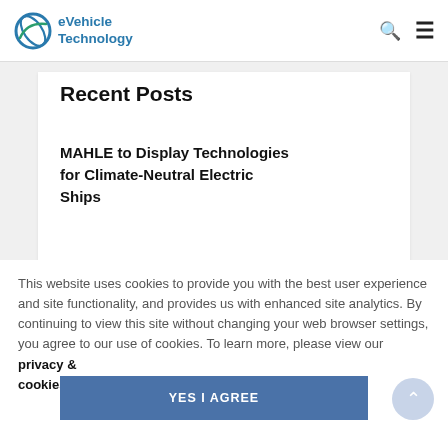eVehicle Technology
Recent Posts
MAHLE to Display Technologies for Climate-Neutral Electric Ships
This website uses cookies to provide you with the best user experience and site functionality, and provides us with enhanced site analytics. By continuing to view this site without changing your web browser settings, you agree to our use of cookies. To learn more, please view our privacy & cookies policy.
YES I AGREE